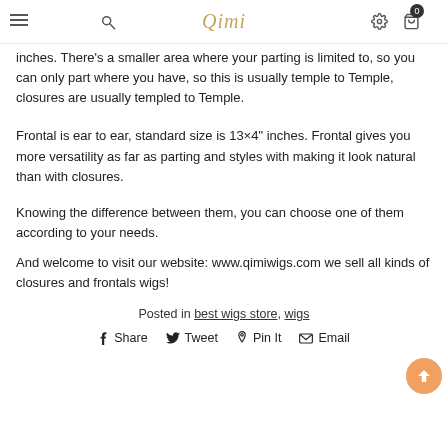Qimi
inches. There's a smaller area where your parting is limited to, so you can only part where you have, so this is usually temple to Temple, closures are usually templed to Temple.
Frontal is ear to ear, standard size is 13×4" inches. Frontal gives you more versatility as far as parting and styles with making it look natural than with closures.
Knowing the difference between them, you can choose one of them according to your needs.
And welcome to visit our website: www.qimiwigs.com we sell all kinds of closures and frontals wigs!
Posted in best wigs store, wigs
Share  Tweet  Pin It  Email